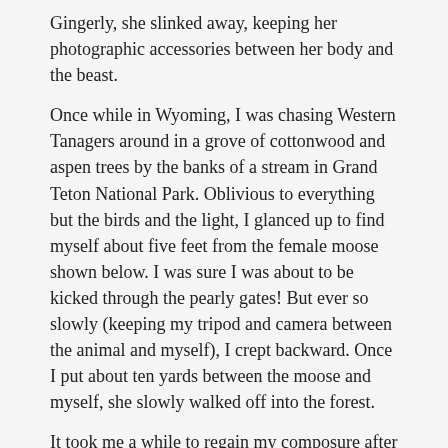Gingerly, she slinked away, keeping her photographic accessories between her body and the beast.
Once while in Wyoming, I was chasing Western Tanagers around in a grove of cottonwood and aspen trees by the banks of a stream in Grand Teton National Park. Oblivious to everything but the birds and the light, I glanced up to find myself about five feet from the female moose shown below. I was sure I was about to be kicked through the pearly gates! But ever so slowly (keeping my tripod and camera between the animal and myself), I crept backward. Once I put about ten yards between the moose and myself, she slowly walked off into the forest.
It took me a while to regain my composure after that one.
[Figure (photo): A female moose peeking through dark bare tree branches and green foliage, showing its ears and top of its brown head, photographed in a forest setting.]